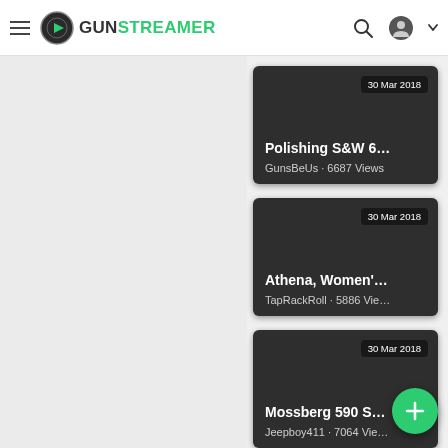GunStreamer navigation bar
[Figure (screenshot): Video thumbnail card: Polishing S&W 6... by GunsBeUs · 6687 Views, dated 30 Mar 2018]
[Figure (screenshot): Video thumbnail card: Athena, Women'… by TapRackRoll · 5886 Vie..., dated 30 Mar 2018]
[Figure (screenshot): Video thumbnail card: Mossberg 590 S... by Jeepboy411 · 7064 Vie..., dated 30 Mar 2018]
[Figure (screenshot): Partial video thumbnail card with date 30 Ma... at bottom of page]